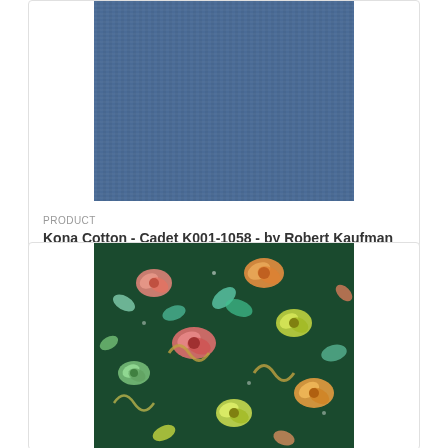[Figure (photo): Blue solid fabric swatch for Kona Cotton Cadet K001-1058]
PRODUCT
Kona Cotton - Cadet K001-1058 - by Robert Kaufman
$8.25
[Figure (photo): Floral printed fabric swatch with colorful flowers on dark green background]